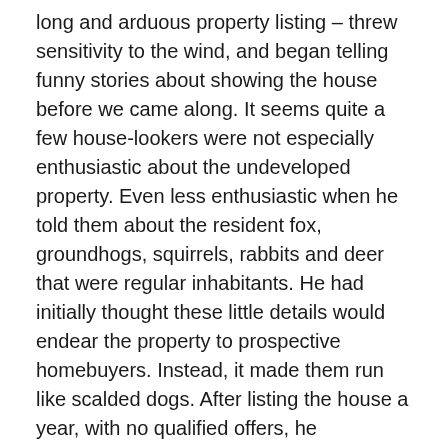long and arduous property listing – threw sensitivity to the wind, and began telling funny stories about showing the house before we came along. It seems quite a few house-lookers were not especially enthusiastic about the undeveloped property. Even less enthusiastic when he told them about the resident fox, groundhogs, squirrels, rabbits and deer that were regular inhabitants. He had initially thought these little details would endear the property to prospective homebuyers. Instead, it made them run like scalded dogs. After listing the house a year, with no qualified offers, he determined he would not tell people about the adjoining property, as it seemed to scare them off. Jim and I looked at each other and thought, what have we done? We excused ourselves for a quick conference. We emerged the owners of an acre and a half, part of which promised to be a good bit of work.